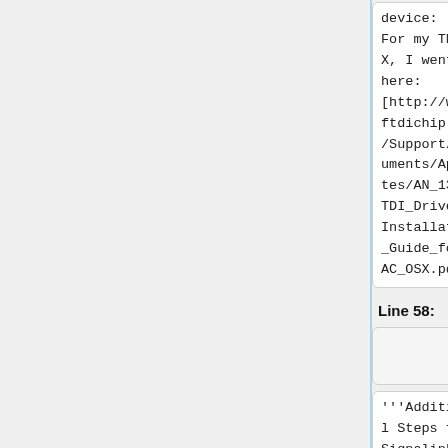device:
For my TNC-X, I went here: [http://www.ftdichip.com/Support/Documents/AppNotes/AN_134_FTDI_Drivers_Installation_Guide_for_MAC_OSX.pdf]
device:
For my TNC-X, I went here: [http://www.ftdichip.com/Support/Documents/AppNotes/AN_134_FTDI_Drivers_Installation_Guide_for_MAC_OSX.pdf]
Line 58:
Line 60:
'''Additional Steps for Signalink users:''' modified
'''Additional Steps for Signalink users:''' modified